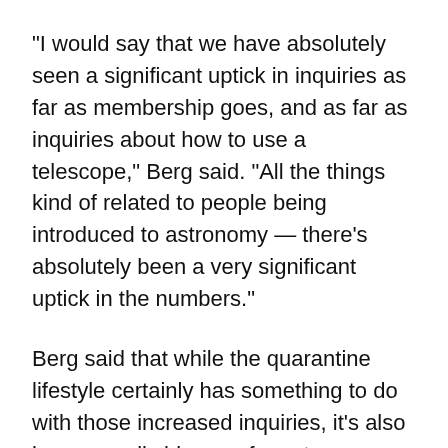"I would say that we have absolutely seen a significant uptick in inquiries as far as membership goes, and as far as inquiries about how to use a telescope," Berg said. "All the things kind of related to people being introduced to astronomy — there's absolutely been a very significant uptick in the numbers."
Berg said that while the quarantine lifestyle certainly has something to do with those increased inquiries, it's also been a really big year for astronomy and space-based discoveries.
In late March, Comet NEOWISE was discovered by astronomers during the NEOWISE mission of the Wide-field Infrared Survey Explorer space telescope